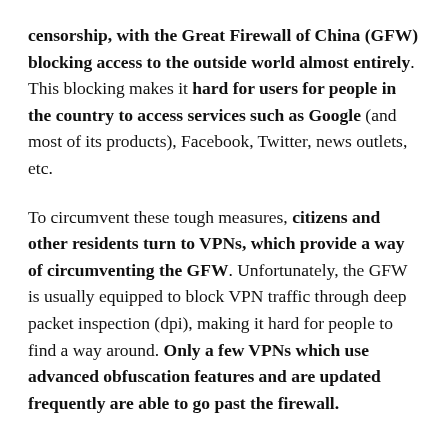censorship, with the Great Firewall of China (GFW) blocking access to the outside world almost entirely. This blocking makes it hard for users for people in the country to access services such as Google (and most of its products), Facebook, Twitter, news outlets, etc.
To circumvent these tough measures, citizens and other residents turn to VPNs, which provide a way of circumventing the GFW. Unfortunately, the GFW is usually equipped to block VPN traffic through deep packet inspection (dpi), making it hard for people to find a way around. Only a few VPNs which use advanced obfuscation features and are updated frequently are able to go past the firewall.